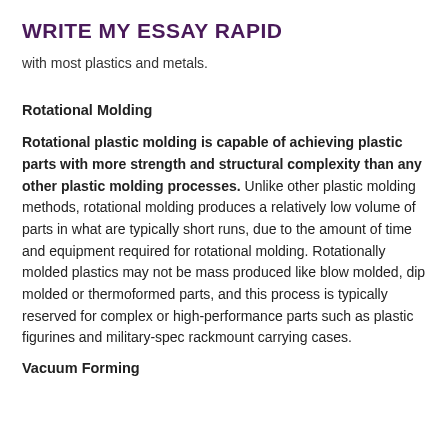WRITE MY ESSAY RAPID
with most plastics and metals.
Rotational Molding
Rotational plastic molding is capable of achieving plastic parts with more strength and structural complexity than any other plastic molding processes. Unlike other plastic molding methods, rotational molding produces a relatively low volume of parts in what are typically short runs, due to the amount of time and equipment required for rotational molding. Rotationally molded plastics may not be mass produced like blow molded, dip molded or thermoformed parts, and this process is typically reserved for complex or high-performance parts such as plastic figurines and military-spec rackmount carrying cases.
Vacuum Forming